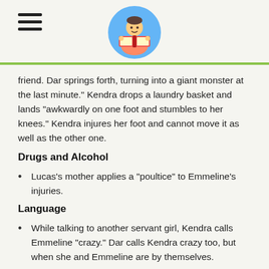[hamburger menu icon and reader logo]
friend.  Dar springs forth, turning into a giant monster at the last minute.” Kendra drops a laundry basket and lands “awkwardly on one foot and stumbles to her knees.” Kendra injures her foot and cannot move it as well as the other one.
Drugs and Alcohol
Lucas’s mother applies a “poultice” to Emmeline’s injuries.
Language
While talking to another servant girl, Kendra calls Emmeline “crazy.” Dar calls Kendra crazy too, but when she and Emmeline are by themselves.
Emmeline thinks “drat” to herself when confronted with